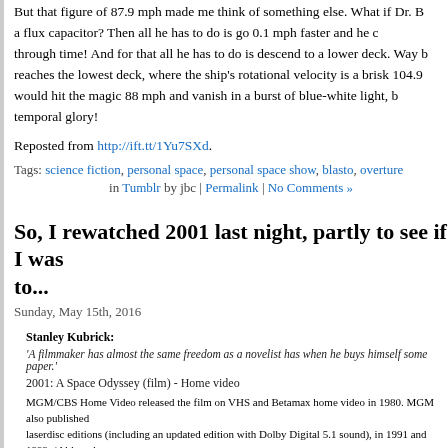But that figure of 87.9 mph made me think of something else. What if Dr. B... a flux capacitor? Then all he has to do is go 0.1 mph faster and he c... through time! And for that all he has to do is descend to a lower deck. Way b... reaches the lowest deck, where the ship's rotational velocity is a brisk 104.9... would hit the magic 88 mph and vanish in a burst of blue-white light, b... temporal glory!
Reposted from http://ift.tt/1Yu7SXd.
Tags: science fiction, personal space, personal space show, blasto, overture... in Tumblr by jbc | Permalink | No Comments »
So, I rewatched 2001 last night, partly to see if I was to...
Sunday, May 15th, 2016
Stanley Kubrick: 'A filmmaker has almost the same freedom as a novelist has when he buys himself some paper.' 2001: A Space Odyssey (film) - Home video MGM/CBS Home Video released the film on VHS and Betamax home video in 1980...
So, I rewatched 2001 last night, partly to see if I was wrong to think I r...